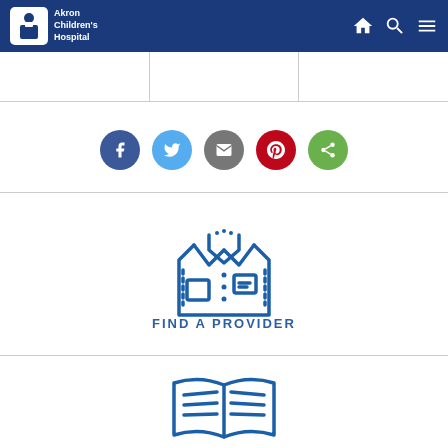[Figure (logo): Akron Children's Hospital logo with white icon and white text on blue background]
[Figure (infographic): Social sharing buttons row: Facebook (dark blue), Twitter (light blue), Email (gray), Pinterest (red), Share (green)]
[Figure (illustration): Doctor coat / lab coat icon in blue outline style]
FIND A PROVIDER
[Figure (illustration): Open book icon in blue outline style, partially visible at bottom]